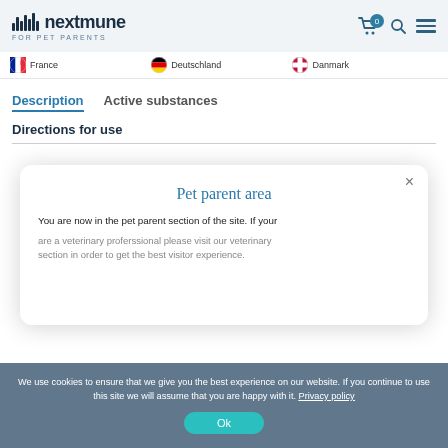nextmune FOR PET PARENTS
France   Deutschland   Danmark
Description   Active substances
Directions for use
[Figure (screenshot): Pet parent area modal dialog box with close button, title 'Pet parent area', body text about being in the pet parent section and veterinary professional redirect]
We use cookies to ensure that we give you the best experience on our website. If you continue to use this site we will assume that you are happy with it. Privacy policy
microcapsules filled with a mixture of